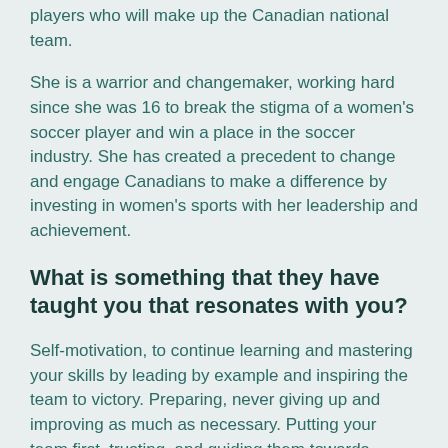players who will make up the Canadian national team.
She is a warrior and changemaker, working hard since she was 16 to break the stigma of a women's soccer player and win a place in the soccer industry. She has created a precedent to change and engage Canadians to make a difference by investing in women's sports with her leadership and achievement.
What is something that they have taught you that resonates with you?
Self-motivation, to continue learning and mastering your skills by leading by example and inspiring the team to victory. Preparing, never giving up and improving as much as necessary. Putting your team first, trusting, and guiding them towards reaching their potential.